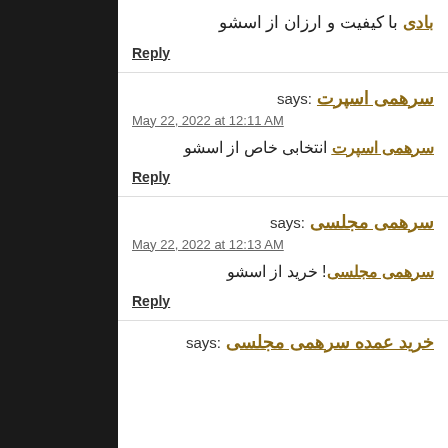بادی با کیفیت و ارزان از اسشو
Reply
سرهمی اسپرت says:
May 22, 2022 at 12:11 AM
سرهمی اسپرت انتخابی خاص از اسشو
Reply
سرهمی مجلسی says:
May 22, 2022 at 12:13 AM
!سرهمی مجلسی خرید از اسشو
Reply
خرید عمده سرهمی مجلسی says: